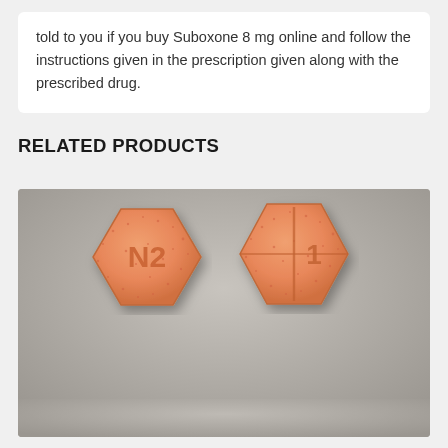told to you if you buy Suboxone 8 mg online and follow the instructions given in the prescription given along with the prescribed drug.
RELATED PRODUCTS
[Figure (photo): Two hexagonal orange Suboxone tablets side by side on a gray background. The left tablet is imprinted with 'N2' and the right tablet shows score lines forming an 'I' or cross pattern.]